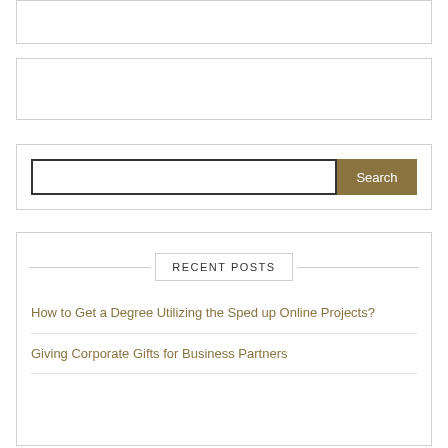[Figure (other): Empty white box at top of page]
[Figure (other): Empty white box below top box]
[Figure (other): Search widget box with text input and Search button]
RECENT POSTS
How to Get a Degree Utilizing the Sped up Online Projects?
Giving Corporate Gifts for Business Partners